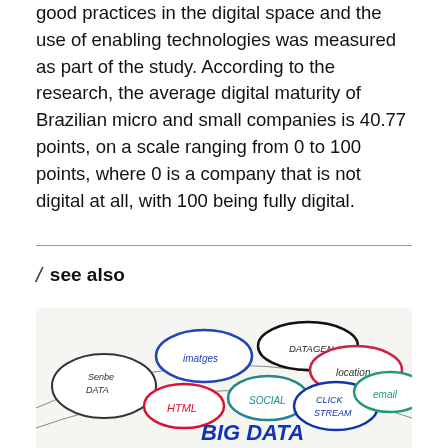good practices in the digital space and the use of enabling technologies was measured as part of the study. According to the research, the average digital maturity of Brazilian micro and small companies is 40.77 points, on a scale ranging from 0 to 100 points, where 0 is a company that is not digital at all, with 100 being fully digital.
/ see also
[Figure (illustration): Hand-drawn illustration showing oval/ellipse shapes labeled with different data types: 'imatges', 'DATAGEN', 'location', 'Senbe DATA', 'HTML', 'SOCIAL', 'CLICK STREAM', 'email', with 'BIG DATA' written in large blue text at the bottom.]